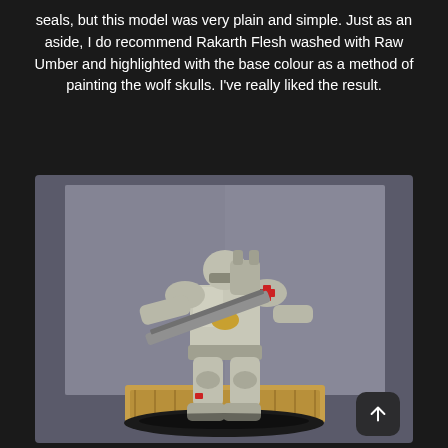seals, but this model was very plain and simple. Just as an aside, I do recommend Rakarth Flesh washed with Raw Umber and highlighted with the base colour as a method of painting the wolf skulls. I've really liked the result.
[Figure (photo): A painted Warhammer 40K Space Marine miniature in silver/grey armor holding a chainsword, standing on a decorative base. The figure has a red cross on the shoulder pad and gold details. Background is grey.]